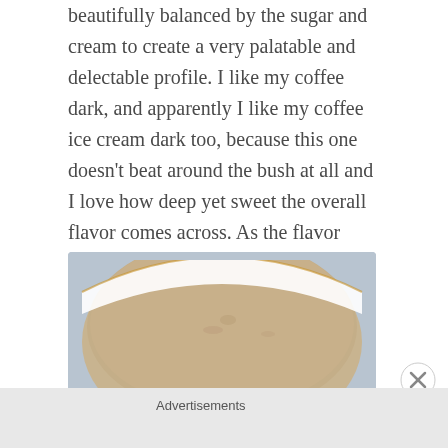beautifully balanced by the sugar and cream to create a very palatable and delectable profile. I like my coffee dark, and apparently I like my coffee ice cream dark too, because this one doesn't beat around the bush at all and I love how deep yet sweet the overall flavor comes across. As the flavor evolves the bitter notes channel chocolate and I get a bit of a mellow mocha vibe, which is tasty and a very natural progression.
[Figure (photo): Top-down photo of a container of coffee ice cream, showing the tan/beige surface of the ice cream in a white container, with a light blue-gray background.]
Advertisements